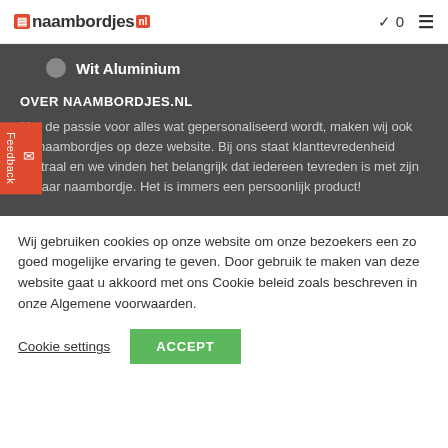naambordjes.nl — cart 0 — menu
Wit Aluminium
OVER NAAMBORDJES.NL
Met de passie voor alles wat gepersonaliseerd wordt, maken wij ook de naambordjes op deze website. Bij ons staat klanttevredenheid centraal en we vinden het belangrijk dat iedereen tevreden is met zijn of haar naambordje. Het is immers een persoonlijk product!
Wij gebruiken cookies op onze website om onze bezoekers een zo goed mogelijke ervaring te geven. Door gebruik te maken van deze website gaat u akkoord met ons Cookie beleid zoals beschreven in onze Algemene voorwaarden.
Cookie settings  ACCEPT